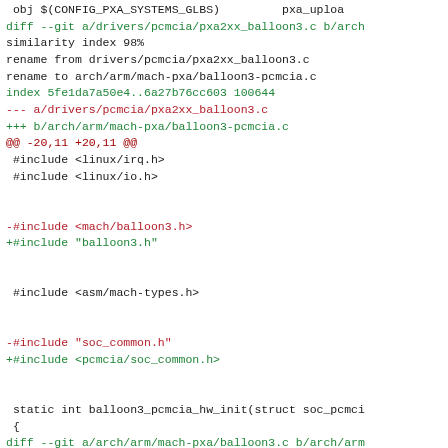[Figure (screenshot): A unified diff / patch view showing file renames and source code changes for Linux kernel PCMCIA balloon3 driver files, with colored diff syntax: green for added lines, red for removed lines, cyan for file headers, magenta/red for hunk headers, and black for context lines.]